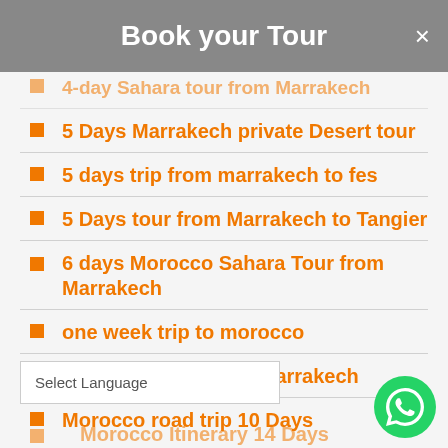Book your Tour
4-day Sahara tour from Marrakech
5 Days Marrakech private Desert tour
5 days trip from marrakech to fes
5 Days tour from Marrakech to Tangier
6 days Morocco Sahara Tour from Marrakech
one week trip to morocco
Morocco 9 Days trip Marrakech
Morocco road trip 10 Days
Select Language
Morocco Itinerary 14 Days